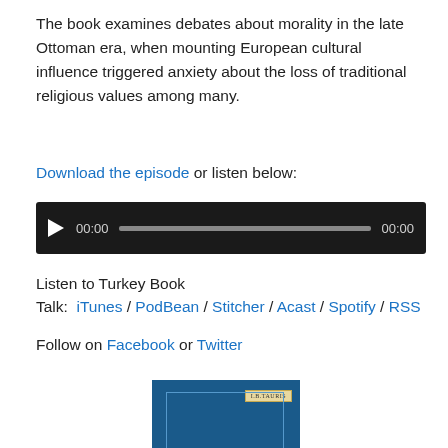The book examines debates about morality in the late Ottoman era, when mounting European cultural influence triggered anxiety about the loss of traditional religious values among many.
Download the episode or listen below:
[Figure (other): Audio player widget with dark background, play button, progress bar, and time indicators showing 00:00 on both sides]
Listen to Turkey Book Talk: iTunes / PodBean / Stitcher / Acast / Spotify / RSS
Follow on Facebook or Twitter
[Figure (photo): Book cover for 'Moral Crisis in the Ottoman Empire' published by I.B. Tauris, dark blue background with white text and decorative border]